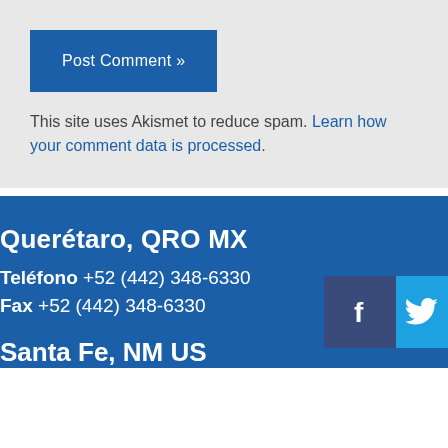Post Comment »
This site uses Akismet to reduce spam. Learn how your comment data is processed.
Querétaro, QRO MX
Teléfono +52 (442) 348-6330
Fax +52 (442) 348-6330
[Figure (illustration): Facebook and Twitter social media icons]
Santa Fe, NM US